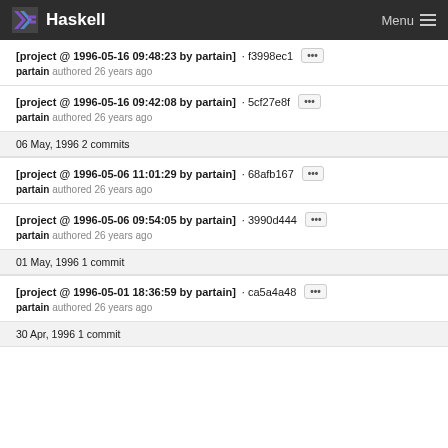Haskell  Menu
[project @ 1996-05-16 09:48:23 by partain] · f3998ec1  ···
partain authored 26 years ago
[project @ 1996-05-16 09:42:08 by partain] · 5cf27e8f  ···
partain authored 26 years ago
06 May, 1996 2 commits
[project @ 1996-05-06 11:01:29 by partain] · 68afb167  ···
partain authored 26 years ago
[project @ 1996-05-06 09:54:05 by partain] · 3990d444  ···
partain authored 26 years ago
01 May, 1996 1 commit
[project @ 1996-05-01 18:36:59 by partain] · ca5a4a48  ···
partain authored 26 years ago
30 Apr, 1996 1 commit